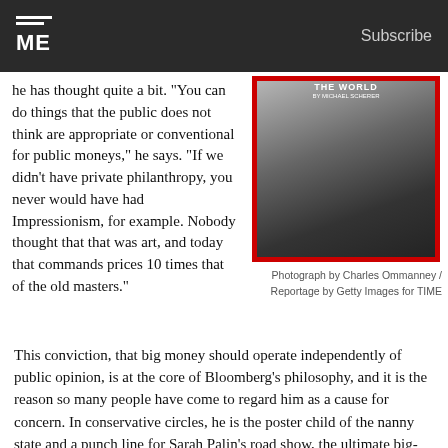TIME — Subscribe
he has thought quite a bit. "You can do things that the public does not think are appropriate or conventional for public moneys," he says. "If we didn't have private philanthropy, you never would have had Impressionism, for example. Nobody thought that that was art, and today that commands prices 10 times that of the old masters."
[Figure (photo): TIME magazine cover showing a close-up black and white photograph of an elderly man's face/neck, with red border. Text reads 'THE WORLD' at top.]
Photograph by Charles Ommanney / Reportage by Getty Images for TIME
This conviction, that big money should operate independently of public opinion, is at the core of Bloomberg's philosophy, and it is the reason so many people have come to regard him as a cause for concern. In conservative circles, he is the poster child of the nanny state and a punch line for Sarah Palin's road show, the ultimate big-city elitist in monogrammed shirts imposing his will on a freedom-loving country. Two